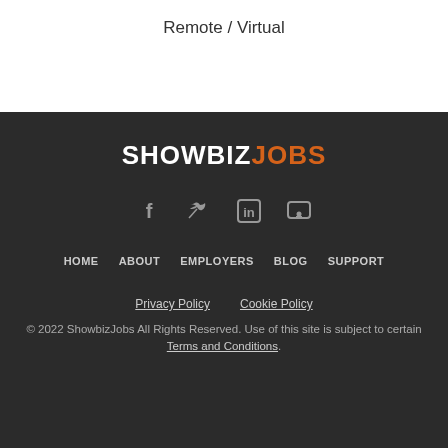Remote / Virtual
[Figure (logo): ShowbizJobs logo with SHOWBIZ in white bold text and JOBS in orange bold text on dark background]
[Figure (infographic): Four social media icons: Facebook (f), Twitter (bird), LinkedIn (in), and a messaging/chat icon, displayed in gray on dark background]
HOME   ABOUT   EMPLOYERS   BLOG   SUPPORT
Privacy Policy   Cookie Policy
© 2022 ShowbizJobs All Rights Reserved. Use of this site is subject to certain Terms and Conditions.